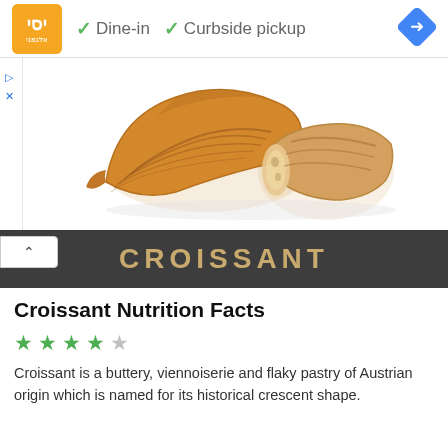[Figure (logo): Orange square logo with white Arabic/decorative text and subtext]
✓ Dine-in  ✓ Curbside pickup
[Figure (illustration): Blue diamond-shaped navigation/directions icon with white right arrow]
[Figure (photo): Two croissants on white background — one whole and one cut in half showing flaky interior]
CROISSANT
Croissant Nutrition Facts
[Figure (other): 4 out of 5 green star rating]
Croissant is a buttery, viennoiserie and flaky pastry of Austrian origin which is named for its historical crescent shape.